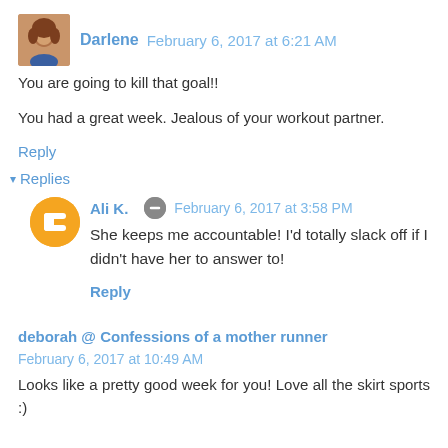Darlene  February 6, 2017 at 6:21 AM
You are going to kill that goal!!

You had a great week. Jealous of your workout partner.
Reply
▾ Replies
Ali K.  February 6, 2017 at 3:58 PM
She keeps me accountable! I'd totally slack off if I didn't have her to answer to!
Reply
deborah @ Confessions of a mother runner  February 6, 2017 at 10:49 AM
Looks like a pretty good week for you! Love all the skirt sports :)